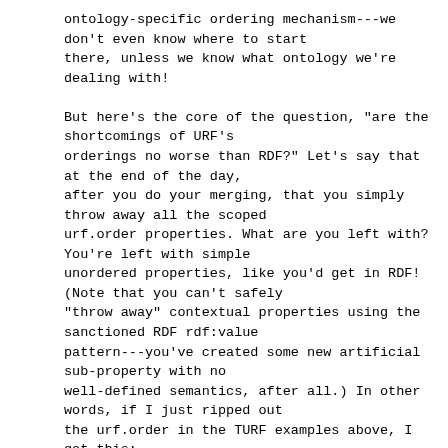ontology-specific ordering mechanism---we don't even know where to start
there, unless we know what ontology we're dealing with!

But here's the core of the question, "are the shortcomings of URF's
orderings no worse than RDF?" Let's say that at the end of the day,
after you do your merging, that you simply throw away all the scoped
urf.order properties. What are you left with? You're left with simple
unordered properties, like you'd get in RDF! (Note that you can't safely
"throw away" contextual properties using the sanctioned RDF rdf:value
pattern---you've created some new artificial sub-property with no
well-defined semantics, after all.) In other words, if I just ripped out
the urf.order in the TURF examples above, I get this:
|vcard|<http://urf.name/vcard>,
|example|<http://example.com/example>,
example.jdoe:
  vcard.tel=«tel:+1-234-567-8910»,
  vcard.tel=«tel:+1-234-567-8911»